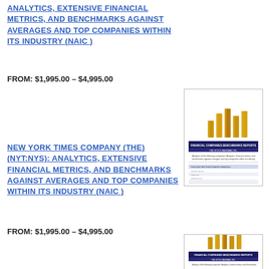ANALYTICS, EXTENSIVE FINANCIAL METRICS, AND BENCHMARKS AGAINST AVERAGES AND TOP COMPANIES WITHIN ITS INDUSTRY (NAIC)
FROM: $1,995.00 – $4,995.00
[Figure (illustration): Document thumbnail showing a report cover with gold bar chart icon and financial data table]
NEW YORK TIMES COMPANY (THE) (NYT:NYS): ANALYTICS, EXTENSIVE FINANCIAL METRICS, AND BENCHMARKS AGAINST AVERAGES AND TOP COMPANIES WITHIN ITS INDUSTRY (NAIC)
FROM: $1,995.00 – $4,995.00
[Figure (illustration): Document thumbnail showing a report cover with gold bar chart icon and financial data table (partial)]